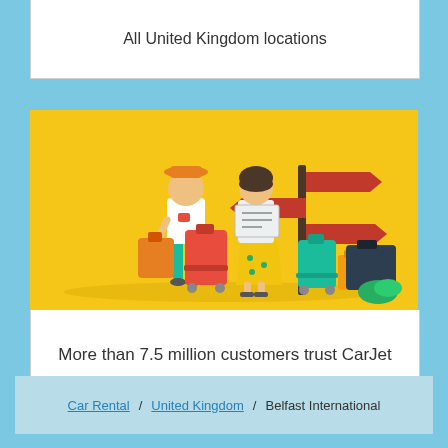All United Kingdom locations
[Figure (illustration): Flat vector illustration on yellow background showing two travelers (a man in a hat with luggage and a woman reading a map) standing next to a directional signpost, surrounded by colorful suitcases and bags.]
More than 7.5 million customers trust CarJet
Car Rental / United Kingdom / Belfast International